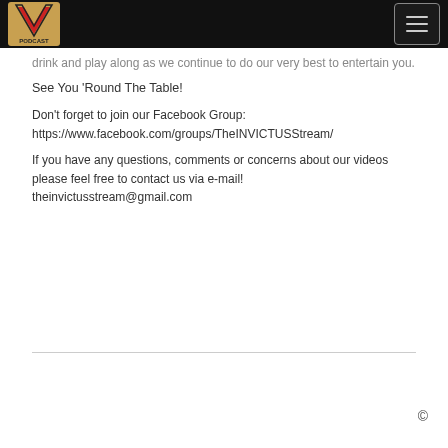The Invictus Podcast logo and navigation menu
drink and play along as we continue to do our very best to entertain you.
See You 'Round The Table!
Don't forget to join our Facebook Group: https://www.facebook.com/groups/TheINVICTUSStream/
If you have any questions, comments or concerns about our videos please feel free to contact us via e-mail! theinvictusstream@gmail.com
©